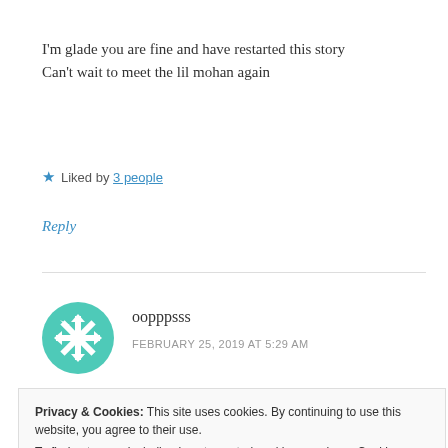I'm glade you are fine and have restarted this story
Can't wait to meet the lil mohan again
★ Liked by 3 people
Reply
oopppsss
FEBRUARY 25, 2019 AT 5:29 AM
Privacy & Cookies: This site uses cookies. By continuing to use this website, you agree to their use.
To find out more, including how to control cookies, see here: Cookie Policy
Close and accept